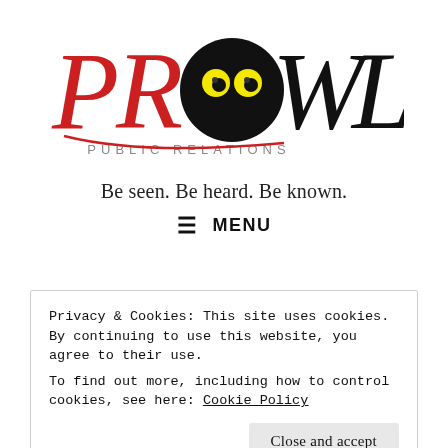[Figure (logo): PROWL Public Relations logo — large stylized text 'PROWL' with 'P' and 'R' in red, 'OWL' in black, a black circle with yellow owl eyes replacing the 'O', and 'PUBLIC RELATIONS' in spaced grey caps below, with a red curved underline beneath.]
Be seen. Be heard. Be known.
≡ MENU
Privacy & Cookies: This site uses cookies. By continuing to use this website, you agree to their use.
To find out more, including how to control cookies, see here: Cookie Policy
Close and accept
Public Relations Firm